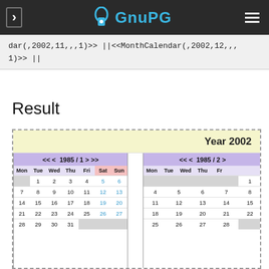GnuPG
dar(,2002,11,,,1)>> ||<<MonthCalendar(,2002,12,,,1)>> ||
Result
[Figure (other): Two monthly calendar widgets for 1985/1 and 1985/2 inside a dashed border box, with 'Year 2002' banner. Calendars show Mon-Sun grid with days 1-31 for January and 1-28 for February 1985. Weekend (Sat/Sun) dates in blue, empty cells in grey.]